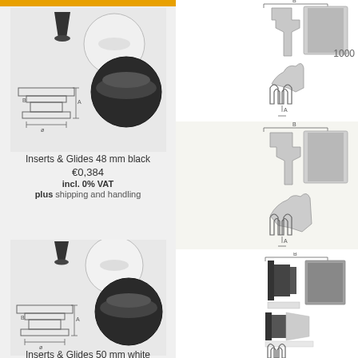[Figure (photo): Inserts & Glides 48mm black product photo showing black and white circular tube inserts with glides]
Inserts & Glides 48 mm black
€0,384
incl. 0% VAT
plus shipping and handling
[Figure (photo): Inserts & Glides 50mm white product photo showing black and white circular tube inserts with glides]
Inserts & Glides 50 mm white
[Figure (engineering-diagram): Seal/gasket strip technical diagram showing cross-section profiles and 3D view, quantity 1000]
[Figure (engineering-diagram): Seal/gasket strip technical diagram showing cross-section profiles and 3D view, quantity 1000]
[Figure (engineering-diagram): Seal/gasket strip technical diagram showing cross-section profiles and 3D view, quantity 1000]